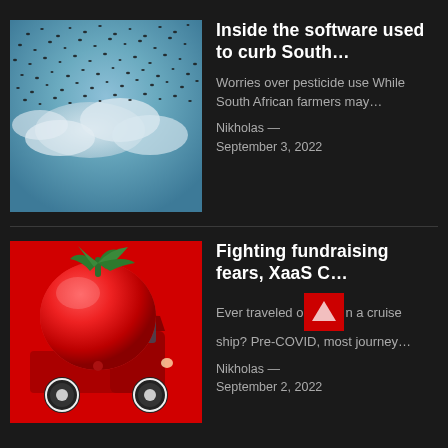[Figure (photo): Swarm of locusts against a blue sky with white clouds]
Inside the software used to curb South…
Worries over pesticide use While South African farmers may…
Nikholas — September 3, 2022
[Figure (photo): A giant red tomato on a red vintage toy truck against a red background]
Fighting fundraising fears, XaaS C…
Ever traveled on a cruise ship? Pre-COVID, most journey…
Nikholas — September 2, 2022